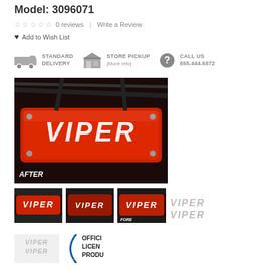Model: 3096071
☆ ☆ ☆ ☆ ☆  0 reviews  |  Write a Review
♥ Add to Wish List
STANDARD DELIVERY  |  STORE PICKUP [More Info]  |  CALL US 855.444.6872
[Figure (photo): Red Viper engine valve covers with VIPER text, labeled AFTER]
[Figure (photo): Three thumbnail images of Viper engine covers - red with VIPER text]
[Figure (logo): VIPER VIPER logo in gray metallic lettering]
[Figure (photo): Bottom row with Viper logo, blue arc graphic, and Officially Licensed Product text]